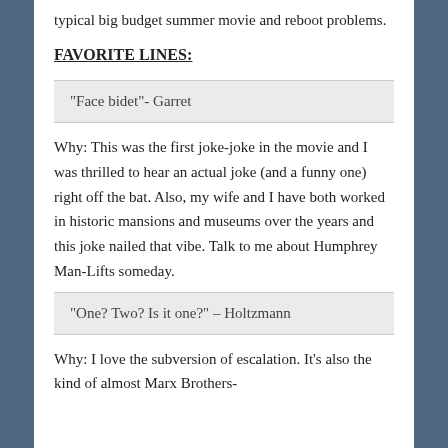typical big budget summer movie and reboot problems.
FAVORITE LINES:
“Face bidet”- Garret
Why: This was the first joke-joke in the movie and I was thrilled to hear an actual joke (and a funny one) right off the bat. Also, my wife and I have both worked in historic mansions and museums over the years and this joke nailed that vibe. Talk to me about Humphrey Man-Lifts someday.
“One? Two? Is it one?” – Holtzmann
Why: I love the subversion of escalation. It’s also the kind of almost Marx Brothers-